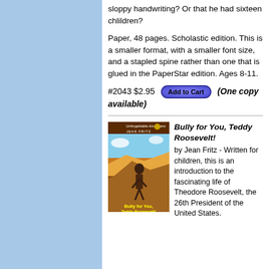sloppy handwriting? Or that he had sixteen chlildren?
Paper, 48 pages. Scholastic edition. This is a smaller format, with a smaller font size, and a stapled spine rather than one that is glued in the PaperStar edition. Ages 8-11.
#2043 $2.95 [Add to Cart] (One copy available)
[Figure (illustration): Book cover for 'Bully for You, Teddy Roosevelt!' by Jean Fritz, part of the Unforgettable Americans series. Shows a figure in outdoor setting with canyon/desert background.]
Bully for You, Teddy Roosevelt! by Jean Fritz - Written for children, this is an introduction to the fascinating life of Theodore Roosevelt, the 26th President of the United States.